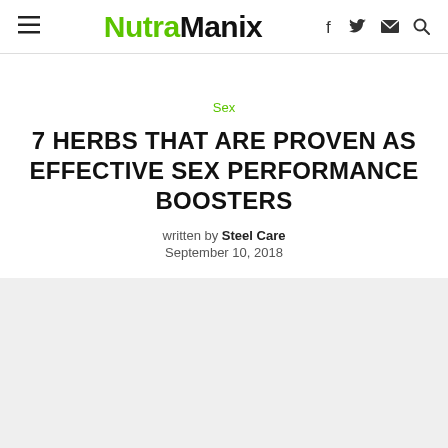NutraManix
Sex
7 HERBS THAT ARE PROVEN AS EFFECTIVE SEX PERFORMANCE BOOSTERS
written by Steel Care
September 10, 2018
[Figure (photo): Featured article image placeholder (light gray rectangle)]